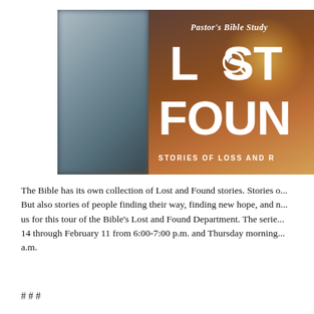[Figure (illustration): Promotional image for Pastor's Bible Study series titled 'Lost & Found: Stories of Loss and R[ecovery]'. Dark background with blurred panel on left, large white bold text 'LOST FOUND' with a magnifying glass graphic, subtitle 'STORIES OF LOSS AND R' visible, warm amber/brown gradient lighting on right side.]
The Bible has its own collection of Lost and Found stories. Stories of... But also stories of people finding their way, finding new hope, and n... us for this tour of the Bible's Lost and Found Department. The serie... 14 through February 11 from 6:00-7:00 p.m. and Thursday morning... a.m.
# # #